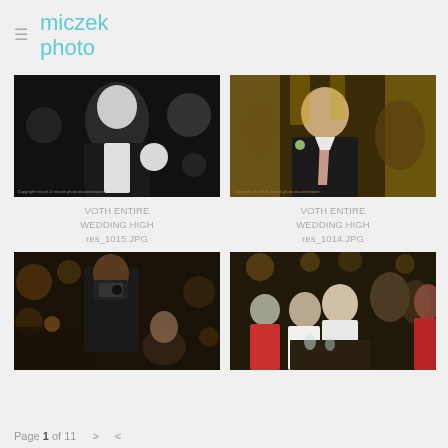miczek photo
[Figure (photo): Black and white photo of a man in a suit smiling, holding something, at a wedding reception]
VOTH ENTIRE WEDDING HIGH res_1015.JPG
[Figure (photo): Color photo of a man in a dark suit with a pink tie and boutonniere, warm yellow lighting, at a wedding]
VOTH ENTIRE WEDDING HIGH res_1014.JPG
[Figure (photo): Color photo of a person in dark clothes taking a photo with a camera at a wedding reception, dimly lit]
[Figure (photo): Color photo of wedding guests seated at tables, warm candlelit lighting, people talking]
Page 1 of 11 > <